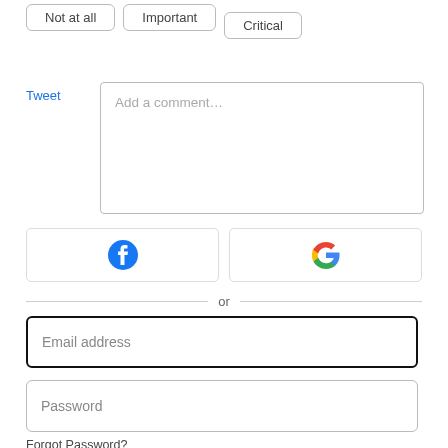Not at all
Important
Critical
Tweet
Add a comment…
[Figure (logo): Facebook logo button]
[Figure (logo): Google logo button]
or
Email address
Password
Forgot Password?